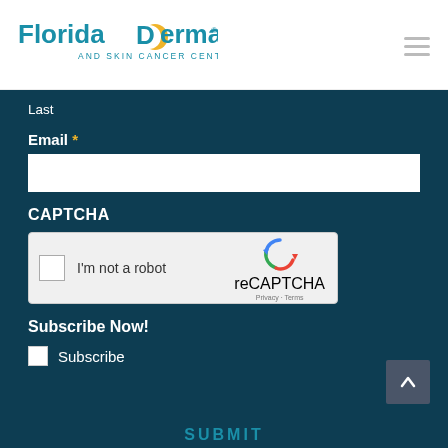[Figure (logo): Florida Dermatology and Skin Cancer Centers logo with teal text and yellow crescent mark]
Last
Email *
CAPTCHA
[Figure (other): reCAPTCHA widget with checkbox 'I'm not a robot', reCAPTCHA logo, Privacy and Terms links]
Subscribe Now!
Subscribe
SUBMIT